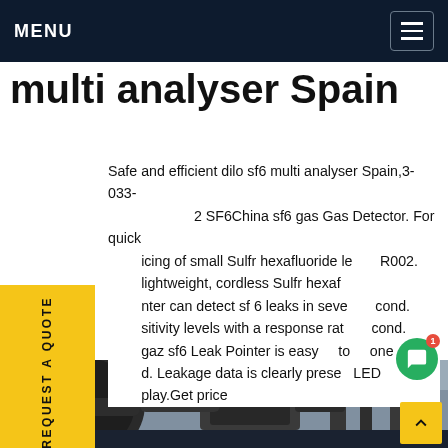MENU
multi analyser Spain
Safe and efficient dilo sf6 multi analyser Spain,3-033-R002. lightweight, cordless Sulfr hexaf ter can detect sf 6 leaks in seve sitivity levels with a response rat cond. gaz sf6 Leak Pointer is easy one d. Leakage data is clearly preserved on an LED play.Get price
[Figure (screenshot): Chat popup overlay showing 'we can send you catalogue and price list for you choosing. Leave us your email or whatsapp.' with SF6 Expert agent avatar and just now timestamp, with write/like/attachment icons]
[Figure (photo): Industrial equipment photo showing dark pipes and industrial machinery against a grey sky, likely SF6 gas handling equipment]